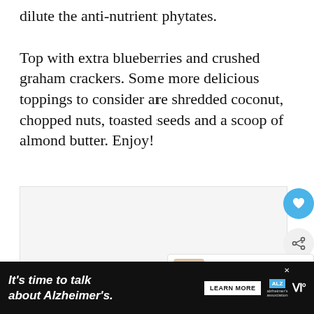dilute the anti-nutrient phytates.
Top with extra blueberries and crushed graham crackers. Some more delicious toppings to consider are shredded coconut, chopped nuts, toasted seeds and a scoop of almond butter. Enjoy!
[Figure (photo): Image placeholder area, light gray background]
[Figure (other): Heart/like button icon (blue circle with heart)]
[Figure (other): Share button icon (gray circle with share symbol)]
WHAT'S NEXT → Pumpkin Greek Yogur...
It's time to talk about Alzheimer's.